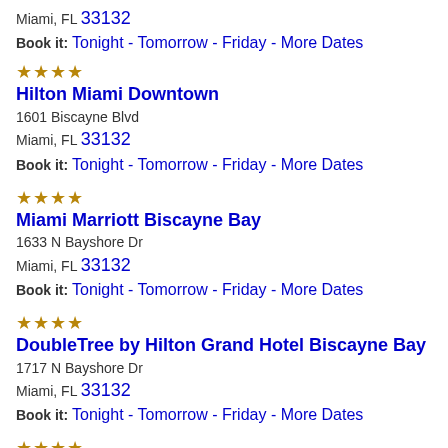Miami, FL 33132
Book it: Tonight - Tomorrow - Friday - More Dates
★★★★ Hilton Miami Downtown
1601 Biscayne Blvd
Miami, FL 33132
Book it: Tonight - Tomorrow - Friday - More Dates
★★★★ Miami Marriott Biscayne Bay
1633 N Bayshore Dr
Miami, FL 33132
Book it: Tonight - Tomorrow - Friday - More Dates
★★★★ DoubleTree by Hilton Grand Hotel Biscayne Bay
1717 N Bayshore Dr
Miami, FL 33132
Book it: Tonight - Tomorrow - Friday - More Dates
★★★★ Bluebird Suites Downtown Brickell